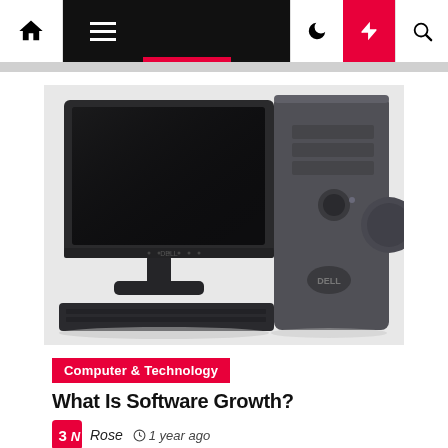Navigation bar with home, menu, moon, lightning, and search icons
[Figure (photo): Dell desktop computer with flat-panel monitor, tower case, and keyboard on white background]
Computer & Technology
What Is Software Growth?
Rose  1 year ago